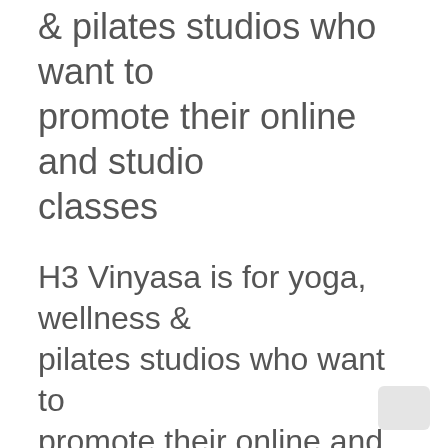& pilates studios who want to promote their online and studio classes
H3 Vinyasa is for yoga, wellness & pilates studios who want to promote their online and studio classes
H4 Vinyasa is for yoga, wellness & pilates studios who want to promote their online and studio classes